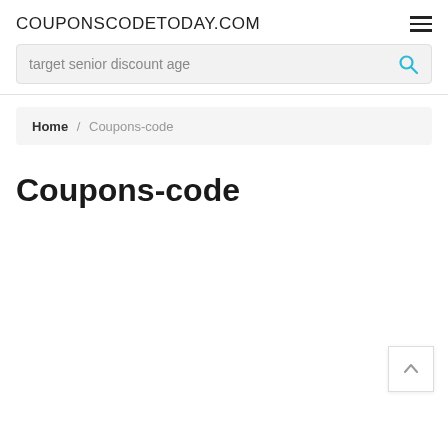COUPONSCODETODAY.COM
target senior discount age
Home / Coupons-code
Coupons-code